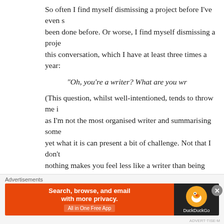So often I find myself dismissing a project before I've even s... been done before. Or worse, I find myself dismissing a proje... this conversation, which I have at least three times a year:
“Oh, you’re a writer? What are you w...
(This question, whilst well-intentioned, tends to throw me ... as I’m not the most organised writer and summarising some... yet what it is can present a bit of challenge. Not that I don’t... nothing makes you feel less like a writer than being unable... coherent sentence!)
“[insert incredible but unoriginal ide...
“Oh great! Like [such and such]...
[Figure (infographic): DuckDuckGo advertisement banner: orange left section with text 'Search, browse, and email with more privacy. All in One Free App', dark right section with DuckDuckGo duck logo and brand name.]